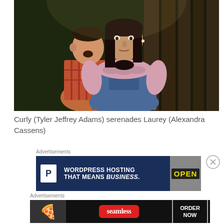[Figure (photo): Two theater actors on stage. A man in a plaid shirt (Tyler Jeffrey Adams as Curly) sings with mouth open, and a woman in a pink blouse and denim overalls (Alexandra Cassens as Laurey) looks forward seriously. Dark wooden backdrop.]
Curly (Tyler Jeffrey Adams) serenades Laurey (Alexandra Cassens)
Advertisements
[Figure (other): Advertisement banner for WordPress Hosting: dark blue background, P icon, text 'WORDPRESS HOSTING THAT MEANS BUSINESS.' with an OPEN sign image on the right.]
Advertisements
[Figure (other): Advertisement banner for Seamless food delivery: dark background, pizza image on left, seamless logo in red pill, ORDER NOW button on right.]